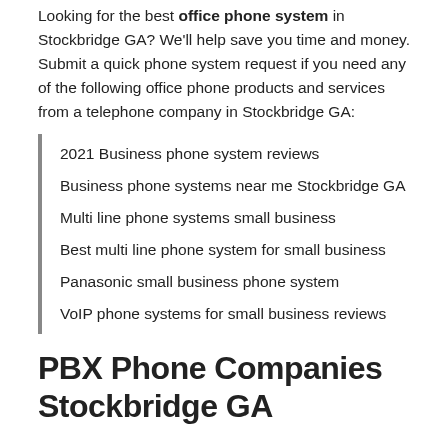Looking for the best office phone system in Stockbridge GA? We'll help save you time and money. Submit a quick phone system request if you need any of the following office phone products and services from a telephone company in Stockbridge GA:
2021 Business phone system reviews
Business phone systems near me Stockbridge GA
Multi line phone systems small business
Best multi line phone system for small business
Panasonic small business phone system
VoIP phone systems for small business reviews
PBX Phone Companies Stockbridge GA